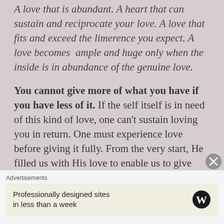A love that is abundant. A heart that can sustain and reciprocate your love. A love that fits and exceed the limerence you expect. A love becomes ample and huge only when the inside is in abundance of the genuine love.
You cannot give more of what you have if you have less of it. If the self itself is in need of this kind of love, one can't sustain loving you in return. One must experience love before giving it fully. From the very start, He filled us with His love to enable us to give love.
Advertisements
Professionally designed sites in less than a week